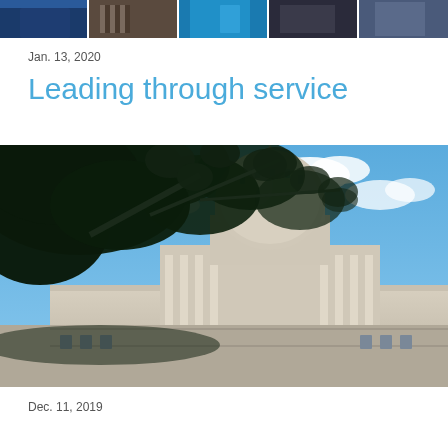[Figure (photo): Strip of five small portrait/people photos at the top of the page]
Jan. 13, 2020
Leading through service
[Figure (photo): Photograph of the US Capitol building dome with tree branches in the foreground and blue sky with clouds]
Dec. 11, 2019